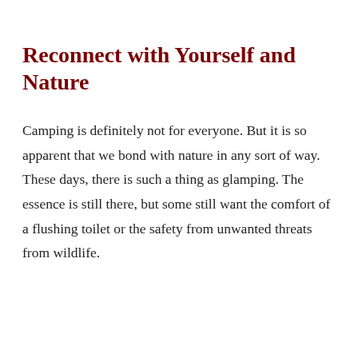Reconnect with Yourself and Nature
Camping is definitely not for everyone. But it is so apparent that we bond with nature in any sort of way. These days, there is such a thing as glamping. The essence is still there, but some still want the comfort of a flushing toilet or the safety from unwanted threats from wildlife.